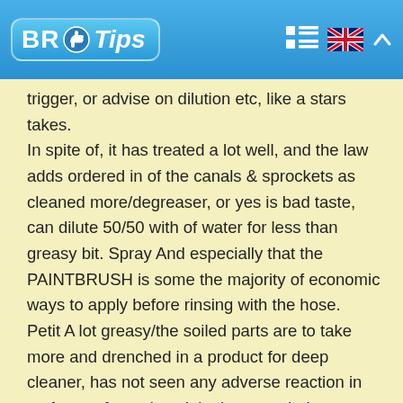BR Tips
trigger, or advise on dilution etc, like a stars takes. In spite of, it has treated a lot well, and the law adds ordered in of the canals & sprockets as cleaned more/degreaser, or yes is bad taste, can dilute 50/50 with of water for less than greasy bit. Spray And especially that the PAINTBRUSH is some the majority of economic ways to apply before rinsing with the hose. Petit A lot greasy/the soiled parts are to take more and drenched in a product for deep cleaner, has not seen any adverse reaction in surfaces of metal, as it looks enough the sure product to the respect. Also £22/5L is £ for litre that is quite eye-wateringly expensive, a trick is for the use like this